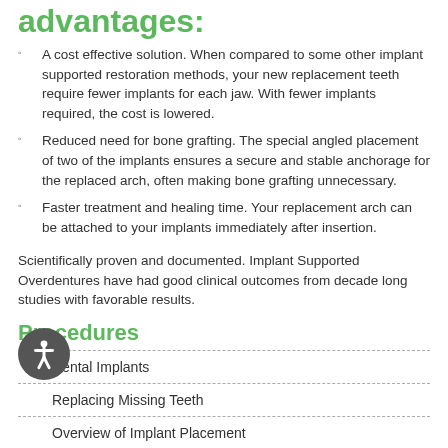advantages:
A cost effective solution. When compared to some other implant supported restoration methods, your new replacement teeth require fewer implants for each jaw. With fewer implants required, the cost is lowered.
Reduced need for bone grafting. The special angled placement of two of the implants ensures a secure and stable anchorage for the replaced arch, often making bone grafting unnecessary.
Faster treatment and healing time. Your replacement arch can be attached to your implants immediately after insertion.
Scientifically proven and documented. Implant Supported Overdentures have had good clinical outcomes from decade long studies with favorable results.
Procedures
Dental Implants
Replacing Missing Teeth
Overview of Implant Placement